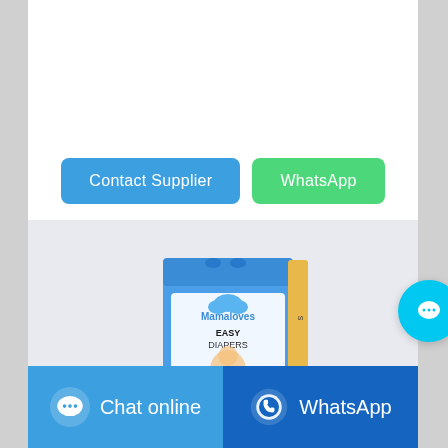[Figure (other): Contact Supplier and WhatsApp buttons - blue and green rounded rectangles]
[Figure (photo): Product photo of Mamaloves Easy Diapers baby diaper box on grey/white background]
[Figure (other): Floating cyan chat bubble button on right side]
[Figure (other): Footer bar with Chat online button (blue) and WhatsApp button (dark blue)]